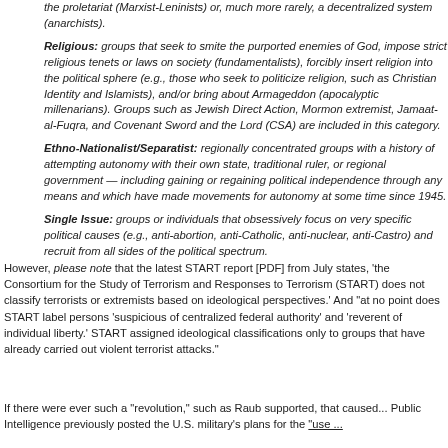the proletariat (Marxist-Leninists) or, much more rarely, a decentralized system (anarchists).
Religious: groups that seek to smite the purported enemies of God, impose strict religious tenets or laws on society (fundamentalists), forcibly insert religion into the political sphere (e.g., those who seek to politicize religion, such as Christian Identity and Islamists), and/or bring about Armageddon (apocalyptic millenarians). Groups such as Jewish Direct Action, Mormon extremist, Jamaat-al-Fuqra, and Covenant Sword and the Lord (CSA) are included in this category.
Ethno-Nationalist/Separatist: regionally concentrated groups with a history of attempting autonomy with their own state, traditional ruler, or regional government — including gaining or regaining political independence through any means and which have made movements for autonomy at some time since 1945.
Single Issue: groups or individuals that obsessively focus on very specific political causes (e.g., anti-abortion, anti-Catholic, anti-nuclear, anti-Castro) and recruit from all sides of the political spectrum.
However, please note that the latest START report [PDF] from July states, 'the Consortium for the Study of Terrorism and Responses to Terrorism (START) does not classify terrorists or extremists based on ideological perspectives.' And 'at no point does START label persons 'suspicious of centralized federal authority' and 'reverent of individual liberty.' START assigned ideological classifications only to groups that have already carried out violent terrorist attacks.'
If there were ever such a "revolution," such as Raub supported, that caused... Public Intelligence previously posted the U.S. military's plans for the "use ...